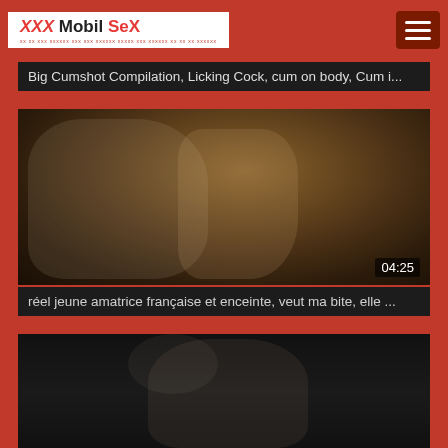[Figure (screenshot): Website header with XXX Mobil SeX logo on white background and hamburger menu button on dark red background]
Big Cumshot Compilation, Licking Cock, cum on body, Cum i...
[Figure (photo): Video thumbnail showing a scene, duration 04:25]
réel jeune amatrice française et enceinte, veut ma bite, elle ...
[Figure (photo): Partial video thumbnail at bottom of page]